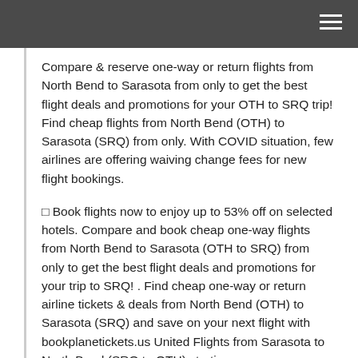Compare & reserve one-way or return flights from North Bend to Sarasota from only to get the best flight deals and promotions for your OTH to SRQ trip! Find cheap flights from North Bend (OTH) to Sarasota (SRQ) from only. With COVID situation, few airlines are offering waiving change fees for new flight bookings.
☐ Book flights now to enjoy up to 53% off on selected hotels. Compare and book cheap one-way flights from North Bend to Sarasota (OTH to SRQ) from only to get the best flight deals and promotions for your trip to SRQ! . Find cheap one-way or return airline tickets & deals from North Bend (OTH) to Sarasota (SRQ) and save on your next flight with bookplanetickets.us United Flights from Sarasota to North Bend (SRQ to OTH) starting